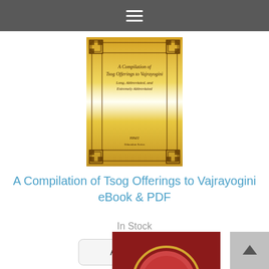[Figure (photo): Book cover for 'A Compilation of Tsog Offerings to Vajrayogini – Long, Abbreviated, and Extremely Abbreviated'. Gold-colored cover with decorative border. FPMT Education Services.]
A Compilation of Tsog Offerings to Vajrayogini eBook & PDF
In Stock
Add to Cart
[Figure (photo): Partial view of another book cover with red and gold circular design at the bottom of the page.]